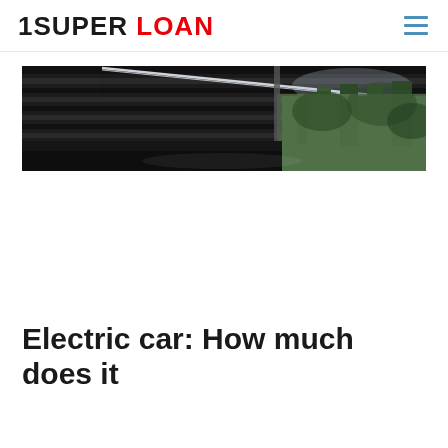1SUPER LOAN
[Figure (photo): Interior of a covered parking structure or carport with dark ceiling/roof slats, LED strip lighting, and trees visible in the background through glass or open wall.]
Electric car: How much does it